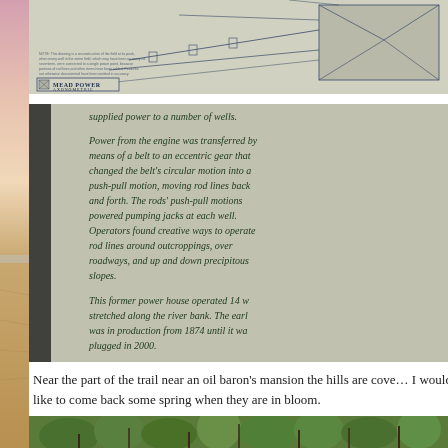[Figure (photo): Narrow vertical strip of a beach/sunset scene with pink and tan tones, used as a left column decorative photo]
[Figure (engineering-diagram): Photo of the Mead Power Axonometric engineering diagram showing a schematic of an oil field power house structure with rods and mechanical components]
[Figure (photo): Photo of an interpretive stone plaque with text about a power house that operated 14 wells along the river bank, in production from 1874 until plugged in 2000]
Near the part of the trail near an oil baron's mansion the hills are covered with [wildflowers]. I would like to come back some spring when they are in bloom.
[Figure (photo): Bottom portion of a photo showing green forest foliage and trees]